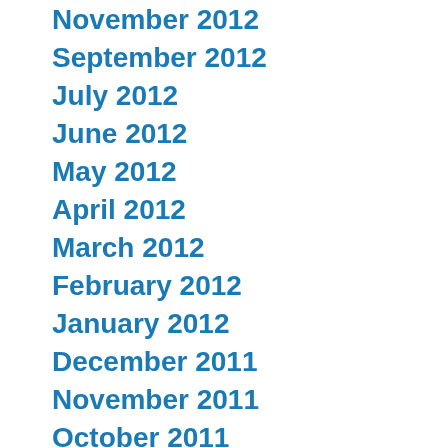November 2012
September 2012
July 2012
June 2012
May 2012
April 2012
March 2012
February 2012
January 2012
December 2011
November 2011
October 2011